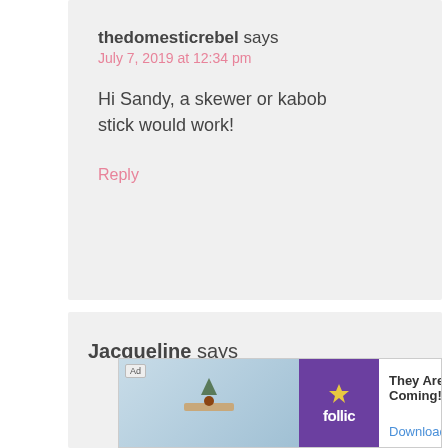thedomesticrebel says
July 7, 2019 at 12:34 pm
Hi Sandy, a skewer or kabob stick would work!
Reply
[Figure (other): Accessibility icon — blue circle with white person silhouette and circular arrows]
Jacqueline says
[Figure (screenshot): Ad banner: 'They Are Coming!' game ad with Rollic logo and Download button]